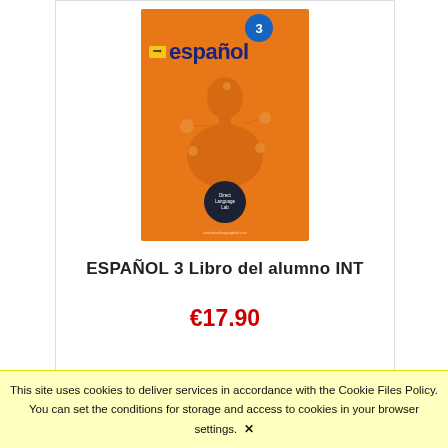[Figure (photo): Book cover of ESPAÑOL 3 Libro del alumno INT. Orange background with an illustrated faceless human figure, orbiting circular shapes, a yellow arrow label, and a dark circular publisher logo at the bottom. A blue badge with '3' is at the top.]
ESPAÑOL 3 Libro del alumno INT
€17.90
This site uses cookies to deliver services in accordance with the Cookie Files Policy. You can set the conditions for storage and access to cookies in your browser settings. ✕